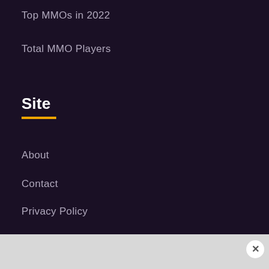Top MMOs in 2022
Total MMO Players
Site
About
Contact
Privacy Policy
Terms
RAWG API